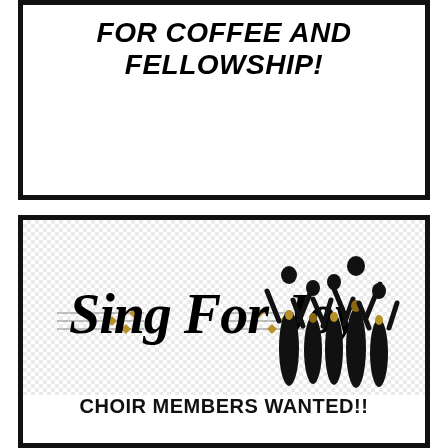FOR COFFEE AND FELLOWSHIP!
[Figure (logo): Sing For Joy choir logo with decorative script text and silhouettes of choir singers with raised arms]
CHOIR MEMBERS WANTED!!